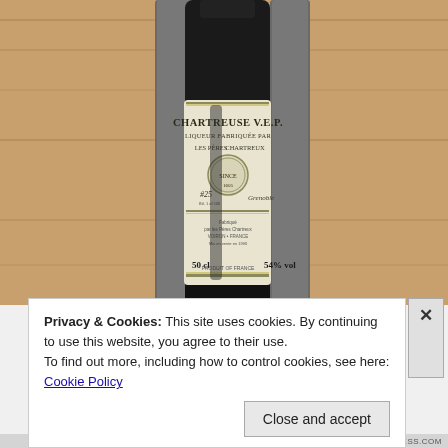[Figure (photo): A bottle of Chartreuse V.E.P. liqueur in a wooden box with foam padding. The label reads: CHARTREUSE V.E.P., LIQUEUR FABRIQUÉE PAR LES PÈRES CHARTREUX, #25, 50cl, PRODUIT OF FRANCE, 54% vol.]
Privacy & Cookies: This site uses cookies. By continuing to use this website, you agree to their use.
To find out more, including how to control cookies, see here: Cookie Policy